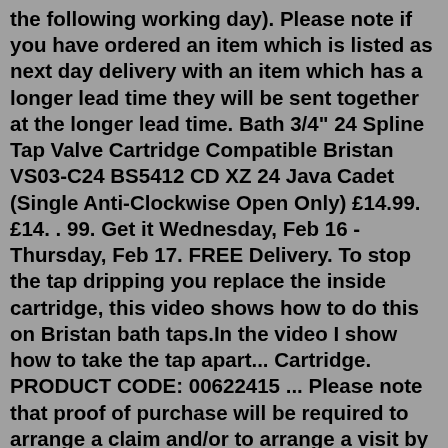the following working day). Please note if you have ordered an item which is listed as next day delivery with an item which has a longer lead time they will be sent together at the longer lead time. Bath 3/4" 24 Spline Tap Valve Cartridge Compatible Bristan VS03-C24 BS5412 CD XZ 24 Java Cadet (Single Anti-Clockwise Open Only) £14.99. £14. . 99. Get it Wednesday, Feb 16 - Thursday, Feb 17. FREE Delivery. To stop the tap dripping you replace the inside cartridge, this video shows how to do this on Bristan bath taps.In the video I show how to take the tap apart... Cartridge. PRODUCT CODE: 00622415 ... Please note that proof of purchase will be required to arrange a claim and/or to arrange a visit by one of our expert Bristan ... Bristan CART5 Thermostatic Cartridge. £138.95. Add to Basket. Bristan Screw In Thermostatic Brass Cartridge. £54.45. Add to Basket. Bristan Shower Bar Thermostatic ... The Bristan flow cartridge - pair (2998827200) is a genuine, brand new Bristan product, covered by a Bristan manufacturer's